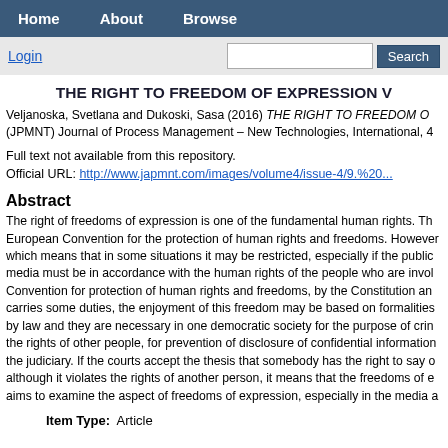Home   About   Browse
Login   Search
THE RIGHT TO FREEDOM OF EXPRESSION V
Veljanoska, Svetlana and Dukoski, Sasa (2016) THE RIGHT TO FREEDOM O... (JPMNT) Journal of Process Management – New Technologies, International, 4
Full text not available from this repository.
Official URL: http://www.japmnt.com/images/volume4/issue-4/9.%20...
Abstract
The right of freedoms of expression is one of the fundamental human rights. Th... European Convention for the protection of human rights and freedoms. However which means that in some situations it may be restricted, especially if the public media must be in accordance with the human rights of the people who are invol... Convention for protection of human rights and freedoms, by the Constitution an carries some duties, the enjoyment of this freedom may be based on formalities by law and they are necessary in one democratic society for the purpose of crin the rights of other people, for prevention of disclosure of confidential information the judiciary. If the courts accept the thesis that somebody has the right to say o although it violates the rights of another person, it means that the freedoms of e aims to examine the aspect of freedoms of expression, especially in the media public interest and latest legal decisions that are related to this matter.
Item Type:  Article